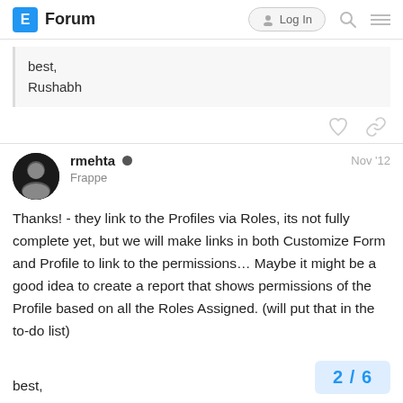E Forum  Log In
best,
Rushabh
rmehta  Frappe  Nov '12
Thanks! - they link to the Profiles via Roles, its not fully complete yet, but we will make links in both Customize Form and Profile to link to the permissions... Maybe it might be a good idea to create a report that shows permissions of the Profile based on all the Roles Assigned. (will put that in the to-do list)
best,
2 / 6